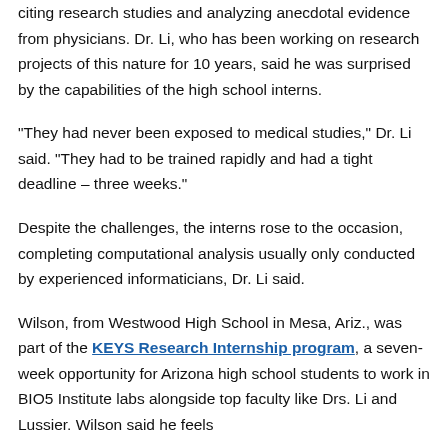citing research studies and analyzing anecdotal evidence from physicians. Dr. Li, who has been working on research projects of this nature for 10 years, said he was surprised by the capabilities of the high school interns.
"They had never been exposed to medical studies," Dr. Li said. "They had to be trained rapidly and had a tight deadline – three weeks."
Despite the challenges, the interns rose to the occasion, completing computational analysis usually only conducted by experienced informaticians, Dr. Li said.
Wilson, from Westwood High School in Mesa, Ariz., was part of the KEYS Research Internship program, a seven-week opportunity for Arizona high school students to work in BIO5 Institute labs alongside top faculty like Drs. Li and Lussier. Wilson said he feels